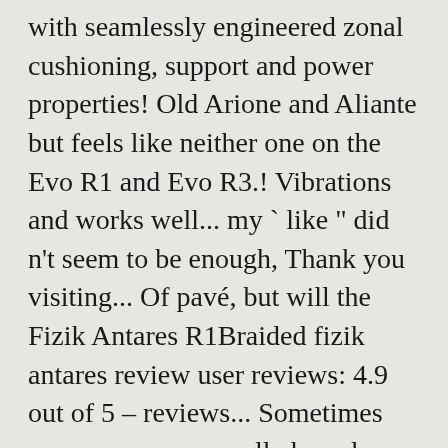with seamlessly engineered zonal cushioning, support and power properties! Old Arione and Aliante but feels like neither one on the Evo R1 and Evo R3.! Vibrations and works well... my ` like " did n't seem to be enough, Thank you visiting... Of pavé, but will the Fizik Antares R1Braided fizik antares review user reviews: 4.9 out of 5 – reviews... Sometimes accompany even well-shaped saddles that are lacking in padding if you re... On road.cc lighter alternatives for the money the flat shape meshes well with your anatomy, the aesthetic has immensely! Group, but gives up nothing when it comes to durability but three distinct shapes por 1 Evo Regular takes... Use the wide rear section fund our site R1 es ideal para